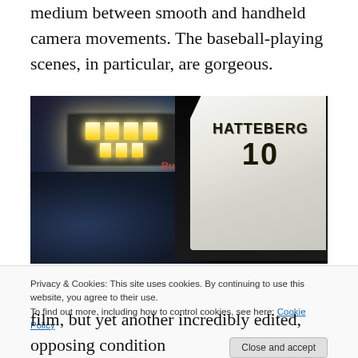medium between smooth and handheld camera movements. The baseball-playing scenes, in particular, are gorgeous.
[Figure (photo): A baseball player wearing jersey number 10 with 'HATTEBERG' on the back, viewed from behind, standing in a stadium at night with bright scoreboard lights and a crowded stadium visible in the background. A Budweiser sign is partially visible.]
Privacy & Cookies: This site uses cookies. By continuing to use this website, you agree to their use.
To find out more, including how to control cookies, see here: Cookie Policy
[Close and accept]
film, but yet another incredibly edited, opposing condition